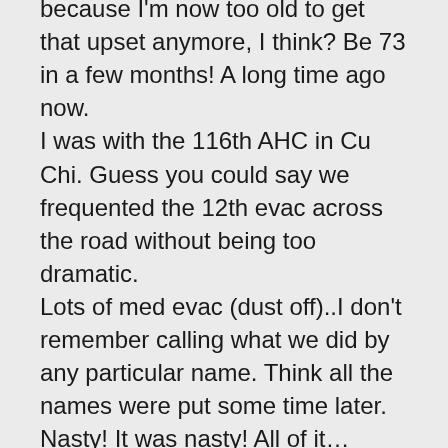because I'm now too old to get that upset anymore, I think? Be 73 in a few months! A long time ago now. I was with the 116th AHC in Cu Chi. Guess you could say we frequented the 12th evac across the road without being too dramatic. Lots of med evac (dust off)..I don't remember calling what we did by any particular name. Think all the names were put some time later. Nasty! It was nasty! All of it…every day…lots of missions to Tay Nin. What caught my eye in one of these posts....nice mountain from the air though. I think they are trying to retire all the Hueys